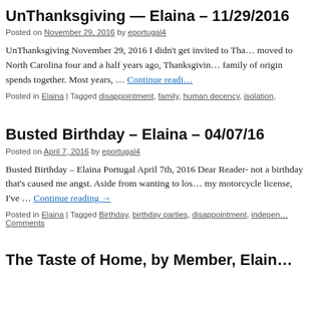UnThanksgiving — Elaina – 11/29/2016
Posted on November 29, 2016 by eportugal4
UnThanksgiving November 29, 2016 I didn't get invited to Tha… moved to North Carolina four and a half years ago, Thanksgivin… family of origin spends together. Most years, … Continue reading
Posted in Elaina | Tagged disappointment, family, human decency, isolation,
Busted Birthday – Elaina – 04/07/16
Posted on April 7, 2016 by eportugal4
Busted Birthday – Elaina Portugal April 7th, 2016 Dear Reader- not a birthday that's caused me angst. Aside from wanting to los… my motorcycle license, I've … Continue reading →
Posted in Elaina | Tagged Birthday, birthday parties, disappointment, indepen… Comments
The Taste of Home, by Member, Elain…